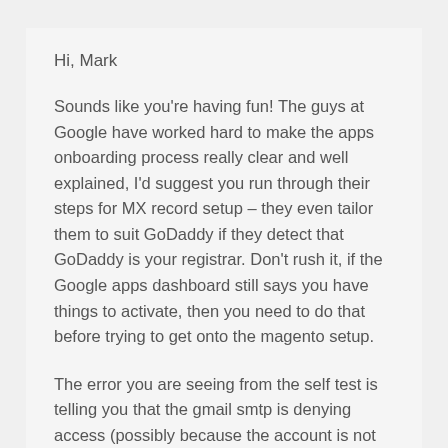Hi, Mark
Sounds like you're having fun! The guys at Google have worked hard to make the apps onboarding process really clear and well explained, I'd suggest you run through their steps for MX record setup – they even tailor them to suit GoDaddy if they detect that GoDaddy is your registrar. Don't rush it, if the Google apps dashboard still says you have things to activate, then you need to do that before trying to get onto the magento setup.
The error you are seeing from the self test is telling you that the gmail smtp is denying access (possibly because the account is not active, or you are using incorrect username and password).